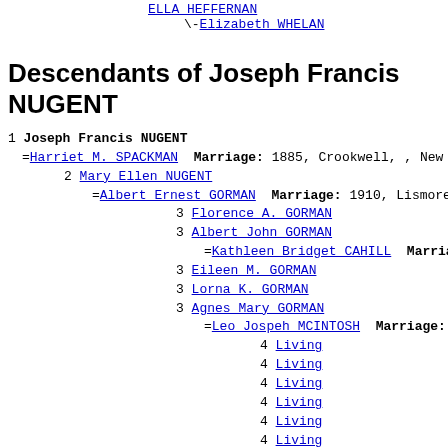| ELLA HEFFERNAN (link)
\-Elizabeth WHELAN (link)
Descendants of Joseph Francis NUGENT
1 Joseph Francis NUGENT
=Harriet M. SPACKMAN  Marriage: 1885, Crookwell, , New
2 Mary Ellen NUGENT
=Albert Ernest GORMAN  Marriage: 1910, Lismore,
3 Florence A. GORMAN
3 Albert John GORMAN
=Kathleen Bridget CAHILL  Marriage: 194
3 Eileen M. GORMAN
3 Lorna K. GORMAN
3 Agnes Mary GORMAN
=Leo Jospeh MCINTOSH  Marriage: 11 Dec
4 Living
4 Living
4 Living
4 Living
4 Living
4 Living
4 Living
3 Doris GORMAN
2 Ernest James NUGENT
=Alice Eliza FROST  Marriage: 1920, Crookwell,
2 Ethel M. NUGENT